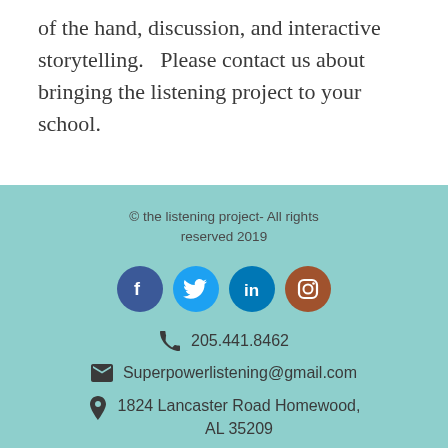of the hand, discussion, and interactive storytelling.   Please contact us about bringing the listening project to your school.
© the listening project- All rights reserved 2019
[Figure (infographic): Social media icons: Facebook (blue), Twitter (light blue), LinkedIn (blue), Instagram (brown/red)]
205.441.8462
Superpowerlistening@gmail.com
1824 Lancaster Road Homewood, AL 35209